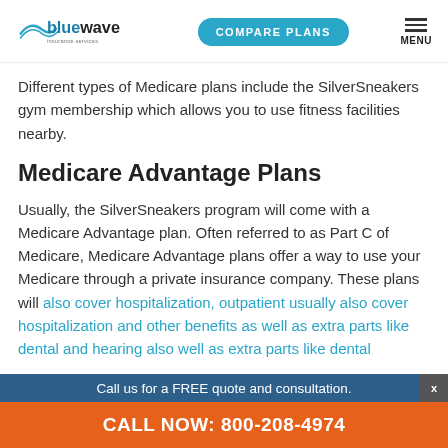bluewave insurance services | COMPARE PLANS | MENU
Different types of Medicare plans include the SilverSneakers gym membership which allows you to use fitness facilities nearby.
Medicare Advantage Plans
Usually, the SilverSneakers program will come with a Medicare Advantage plan. Often referred to as Part C of Medicare, Medicare Advantage plans offer a way to use your Medicare through a private insurance company. These plans will also cover hospitalization, outpatient usually also cover hospitalization and other benefits as well as extra parts like dental and hearing also well as extra parts like dental
Call us for a FREE quote and consultation. CALL NOW: 800-208-4974